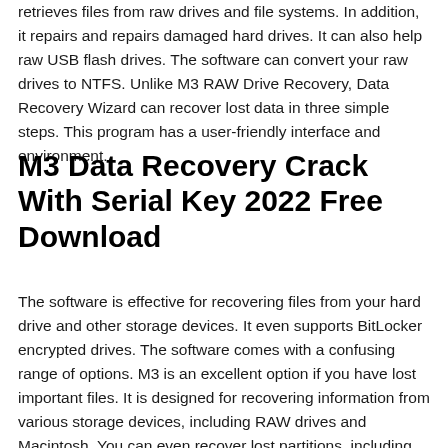retrieves files from raw drives and file systems. In addition, it repairs and repairs damaged hard drives. It can also help raw USB flash drives. The software can convert your raw drives to NTFS. Unlike M3 RAW Drive Recovery, Data Recovery Wizard can recover lost data in three simple steps. This program has a user-friendly interface and environment.
M3 Data Recovery Crack With Serial Key 2022 Free Download
The software is effective for recovering files from your hard drive and other storage devices. It even supports BitLocker encrypted drives. The software comes with a confusing range of options. M3 is an excellent option if you have lost important files. It is designed for recovering information from various storage devices, including RAW drives and Macintosh. You can even recover lost partitions, including Bitlocker. M3 Data Recovery Crack is )and easy to use, making it a popular